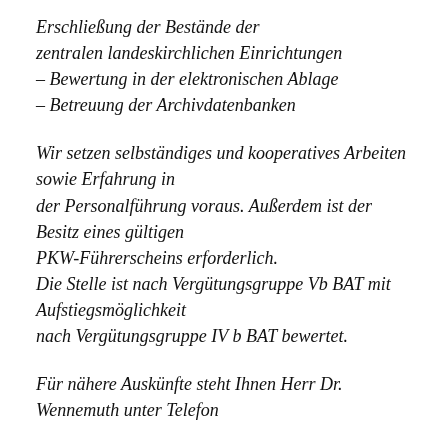Erschließung der Bestände der zentralen landeskirchlichen Einrichtungen
– Bewertung in der elektronischen Ablage
– Betreuung der Archivdatenbanken
Wir setzen selbständiges und kooperatives Arbeiten sowie Erfahrung in der Personalführung voraus. Außerdem ist der Besitz eines gültigen PKW-Führerscheins erforderlich. Die Stelle ist nach Vergütungsgruppe Vb BAT mit Aufstiegsmöglichkeit nach Vergütungsgruppe IV b BAT bewertet.
Für nähere Auskünfte steht Ihnen Herr Dr. Wennemuth unter Telefon